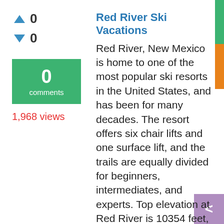▲ 0
▼ 0
0 comments
1,968 views
Red River Ski Vacations
Red River, New Mexico is home to one of the most popular ski resorts in the United States, and has been for many decades. The resort offers six chair lifts and one surface lift, and the trails are equally divided for beginners, intermediates, and experts. Top elevation at Red River is 10354 feet, and the ... lunch for your child as well. At Red River, everything has been thought of and taken care of to ensure that your ski